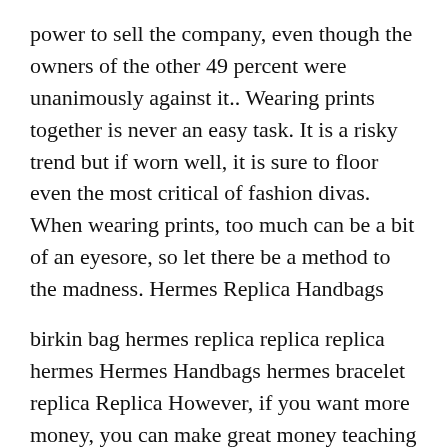power to sell the company, even though the owners of the other 49 percent were unanimously against it.. Wearing prints together is never an easy task. It is a risky trend but if worn well, it is sure to floor even the most critical of fashion divas. When wearing prints, too much can be a bit of an eyesore, so let there be a method to the madness. Hermes Replica Handbags
birkin bag hermes replica replica replica hermes Hermes Handbags hermes bracelet replica Replica However, if you want more money, you can make great money teaching private English conversation classes. People will give you 15 20 euros an hour to sit and talk hermes birkin replica to them in English. It that easy (though not technically legal you don pay taxes.).Speaking of money: You should save before you come. Another major component of how to dunk higher is larger muscular strength. When you attempt a vertical jump, your